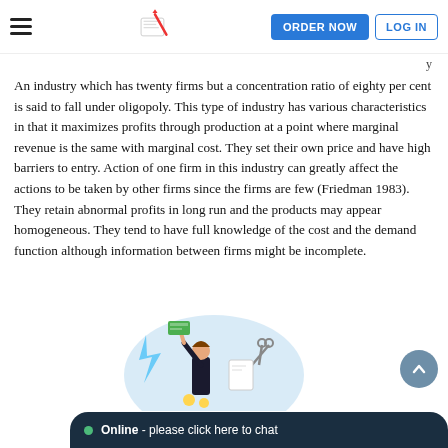ORDER NOW | LOG IN
An industry which has twenty firms but a concentration ratio of eighty per cent is said to fall under oligopoly. This type of industry has various characteristics in that it maximizes profits through production at a point where marginal revenue is the same with marginal cost. They set their own price and have high barriers to entry. Action of one firm in this industry can greatly affect the actions to be taken by other firms since the firms are few (Friedman 1983). They retain abnormal profits in long run and the products may appear homogeneous. They tend to have full knowledge of the cost and the demand function although information between firms might be incomplete.
[Figure (illustration): Illustration of a person holding money, with scissors and other financial symbols, on a light blue background]
Online - please click here to chat